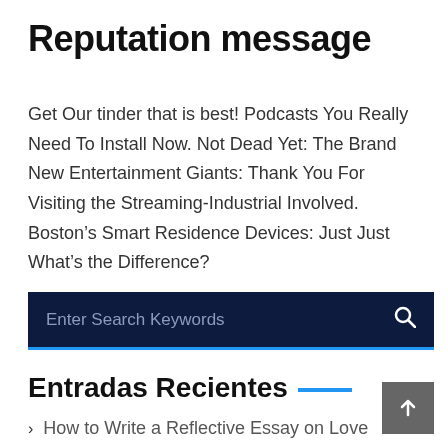Reputation message
Get Our tinder that is best! Podcasts You Really Need To Install Now. Not Dead Yet: The Brand New Entertainment Giants: Thank You For Visiting the Streaming-Industrial Involved. Boston’s Smart Residence Devices: Just Just What’s the Difference?
[Figure (screenshot): Dark navy search bar with placeholder text 'Enter Search Keywords' and a magnifying glass icon on the right, with a blue bottom border]
Entradas Recientes
How to Write a Reflective Essay on Love